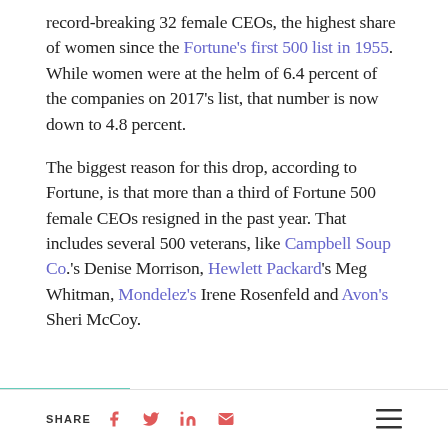record-breaking 32 female CEOs, the highest share of women since the Fortune's first 500 list in 1955. While women were at the helm of 6.4 percent of the companies on 2017's list, that number is now down to 4.8 percent.
The biggest reason for this drop, according to Fortune, is that more than a third of Fortune 500 female CEOs resigned in the past year. That includes several 500 veterans, like Campbell Soup Co.'s Denise Morrison, Hewlett Packard's Meg Whitman, Mondelez's Irene Rosenfeld and Avon's Sheri McCoy.
SHARE [facebook] [twitter] [linkedin] [email] [menu]